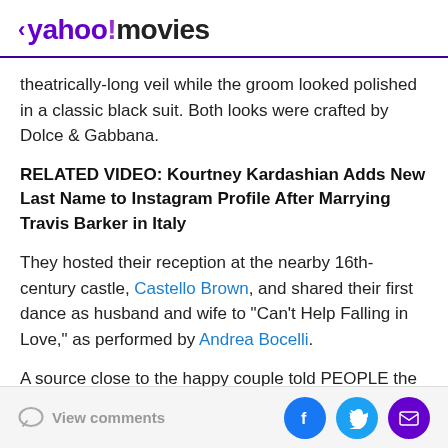< yahoo!movies
theatrically-long veil while the groom looked polished in a classic black suit. Both looks were crafted by Dolce & Gabbana.
RELATED VIDEO: Kourtney Kardashian Adds New Last Name to Instagram Profile After Marrying Travis Barker in Italy
They hosted their reception at the nearby 16th-century castle, Castello Brown, and shared their first dance as husband and wife to "Can't Help Falling in Love," as performed by Andrea Bocelli.
A source close to the happy couple told PEOPLE the
View comments